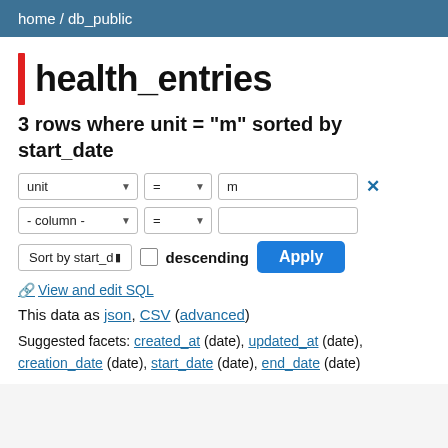home / db_public
health_entries
3 rows where unit = "m" sorted by start_date
Filter controls: unit = m, - column - =
Sort by start_date, descending checkbox, Apply button
🔧 View and edit SQL
This data as json, CSV (advanced)
Suggested facets: created_at (date), updated_at (date), creation_date (date), start_date (date), end_date (date)